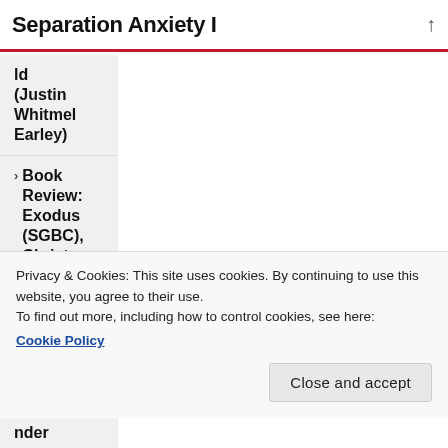Separation Anxiety I
ld (Justin Whitmel Earley)
Book Review: Exodus (SGBC), Christopher Wright
Privacy & Cookies: This site uses cookies. By continuing to use this website, you agree to their use.
To find out more, including how to control cookies, see here: Cookie Policy
Close and accept
nder